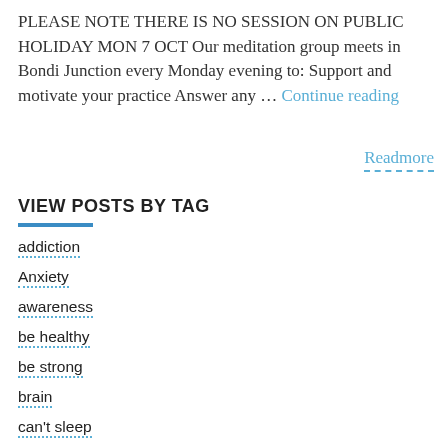PLEASE NOTE THERE IS NO SESSION ON PUBLIC HOLIDAY MON 7 OCT Our meditation group meets in Bondi Junction every Monday evening to: Support and motivate your practice Answer any … Continue reading
Readmore
VIEW POSTS BY TAG
addiction
Anxiety
awareness
be healthy
be strong
brain
can't sleep
change management